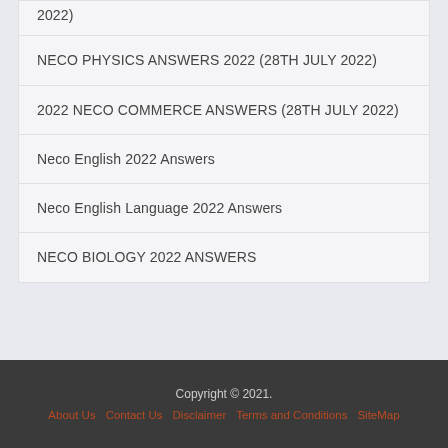2022)
NECO PHYSICS ANSWERS 2022 (28TH JULY 2022)
2022 NECO COMMERCE ANSWERS (28TH JULY 2022)
Neco English 2022 Answers
Neco English Language 2022 Answers
NECO BIOLOGY 2022 ANSWERS
Copyright © 2021.
About Us  Contact Us  Disclaimer  Terms and Conditions  SiteMap